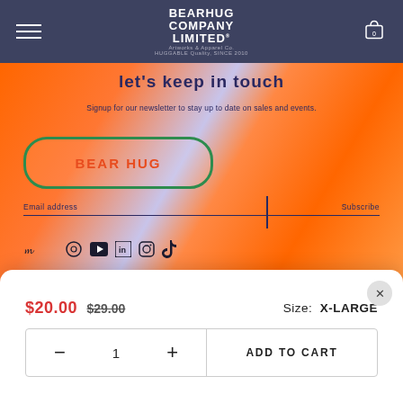BEARHUG COMPANY LIMITED - Artworks & Apparel Co. - HUGGABLE Quality, SINCE 2010
[Figure (screenshot): Colorful psychedelic orange and purple background with 'let's keep in touch' heading, newsletter signup with email address field and Subscribe button, green pill badge, social media icons, and a 'BEAR HUG' branded element]
$20.00 $29.00 Size: X-LARGE
- 1 + ADD TO CART